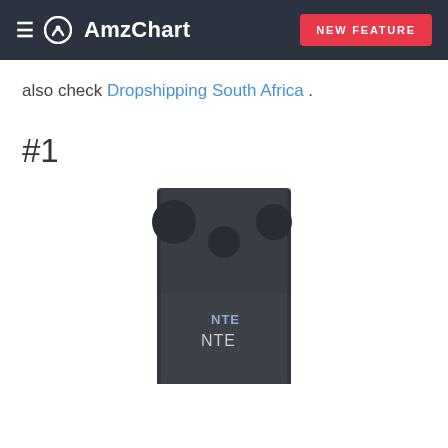AmzChart — NEW FEATURE
also check Dropshipping South Africa .
#1
[Figure (photo): Product photo of an NTE branded electronic component (transistor/semiconductor) — a dark rectangular component with mounting holes and 'NTE' logo printed on it]